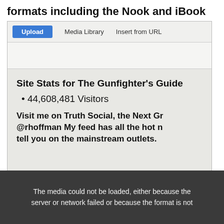formats including the Nook and iBook
[Figure (screenshot): Screenshot of a website upload interface and site stats page showing 'Site Stats for The Gunfighter's Guide', '44,608,481 Visitors', and text about visiting Truth Social at @rhoffman]
[Figure (screenshot): Video player error message: 'The media could not be loaded, either because the server or network failed or because the format is not']